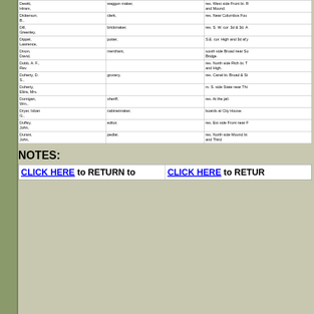| Name | Occupation | Address |
| --- | --- | --- |
| Dewitt, Hiram, | waggon maker, | res. West side Front bt. R and Mound. |
| Dickerson, B., | clerk, | res. Near Columbus Fou |
| Dill, Greenley, | brickmaker, | res. S. W. cor. 3d & 3d. A |
| Dippel, Lawrence, | potter, | S.E. cor. High and 3d al'y |
| Dixon, David, | merchant, | south side Broad near So Bridge. |
| Dobb, A. F., Rev. |  | res. North side Rich bt. T and High. |
| Doherty, D. S., | grocery, | res. Canal bt. Broad & St |
| Doherty, Eliza, Mrs. |  | rs. S. side State near Thi |
| Domigan, Wm., | sheriff, | res. At the jail. |
| Dryer, Isban G., | cabinetmaker, | boards at City House. |
| Duffey, John, | editor, | res. Est side Front near F |
| Durant, John, | pedlar, | res. North side Mound bt and Third. |
NOTES:
CLICK HERE to RETURN to  |  CLICK HERE to RETURN